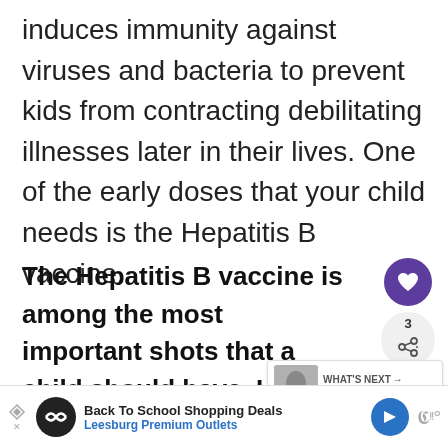induces immunity against viruses and bacteria to prevent kids from contracting debilitating illnesses later in their lives. One of the early doses that your child needs is the Hepatitis B vaccine.
The Hepatitis B vaccine is among the most important shots that a child should have. He should get the first dose within the first 12 hours of his life. The second dose is least four weeks apart, while the third is